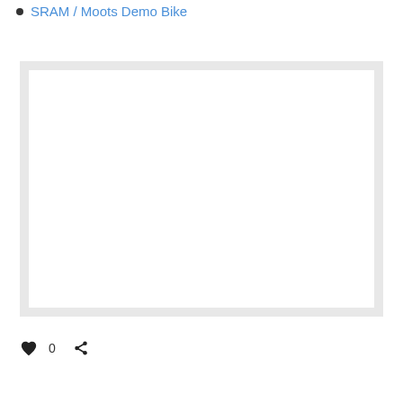SRAM / Moots Demo Bike
[Figure (photo): Empty white image placeholder with light gray border/frame]
0